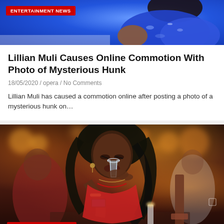[Figure (photo): Partial photo of woman in blue sparkly outfit, top portion cropped, with Entertainment News badge overlay]
Lillian Muli Causes Online Commotion With Photo of Mysterious Hunk
18/05/2020 / opera / No Comments
Lillian Muli has caused a commotion online after posting a photo of a mysterious hunk on…
[Figure (photo): Woman in red dress drinking from a glass while holding a smartphone, sitting in a bar with bokeh lights in background, Entertainment News badge in lower left]